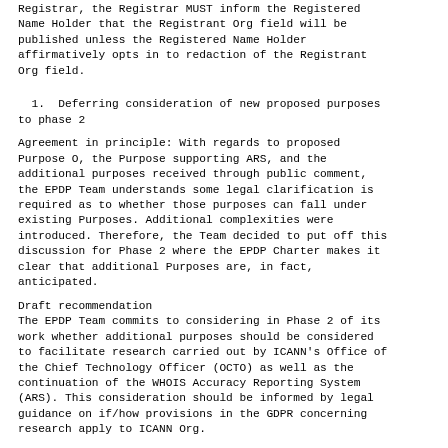Registrar, the Registrar MUST inform the Registered Name Holder that the Registrant Org field will be published unless the Registered Name Holder affirmatively opts in to redaction of the Registrant Org field.
1.  Deferring consideration of new proposed purposes to phase 2
Agreement in principle: With regards to proposed Purpose O, the Purpose supporting ARS, and the additional purposes received through public comment, the EPDP Team understands some legal clarification is required as to whether those purposes can fall under existing Purposes. Additional complexities were introduced. Therefore, the Team decided to put off this discussion for Phase 2 where the EPDP Charter makes it clear that additional Purposes are, in fact, anticipated.
Draft recommendation
The EPDP Team commits to considering in Phase 2 of its work whether additional purposes should be considered to facilitate research carried out by ICANN's Office of the Chief Technology Officer (OCTO) as well as the continuation of the WHOIS Accuracy Reporting System (ARS). This consideration should be informed by legal guidance on if/how provisions in the GDPR concerning research apply to ICANN Org.